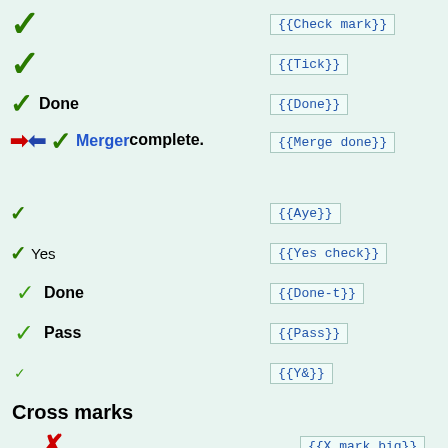✓  {{Check mark}}
✓  {{Tick}}
✓ Done  {{Done}}
➡⬅ ✓ Merger complete.  {{Merge done}}
✓  {{Aye}}
✓ Yes  {{Yes check}}
✓ Done  {{Done-t}}
✓ Pass  {{Pass}}
✓  {{Y&}}
Cross marks
✗  {{X mark big}}
✗  {{Cross}}